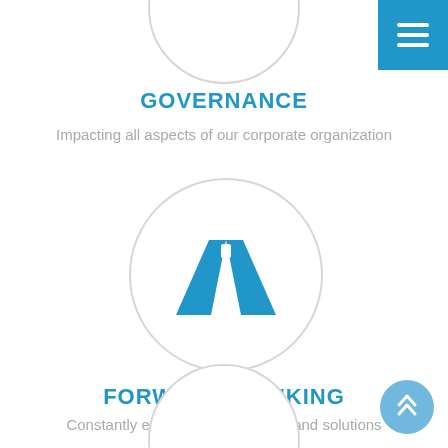[Figure (illustration): Partial circle at top center, cropped, light gray border]
GOVERNANCE
Impacting all aspects of our corporate organization
[Figure (illustration): Circle with a road/highway icon in blue inside it]
FORWARD THINKING
Constantly enriching our software and solutions
[Figure (illustration): Partial circle at bottom center, cropped, light gray border]
[Figure (illustration): Blue scroll-to-top button with double chevron icon, bottom right]